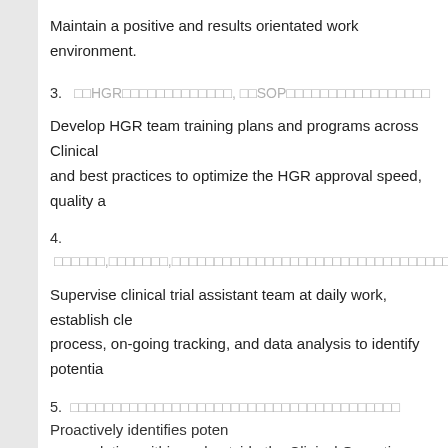Maintain a positive and results orientated work environment.
3.  [Chinese text] HGR[Chinese text], [Chinese text]SOP[Chinese text]
Develop HGR team training plans and programs across Clinical and best practices to optimize the HGR approval speed, quality a
4. [Chinese text]
Supervise clinical trial assistant team at daily work, establish cle process, on-going tracking, and data analysis to identify potentia
5. [Chinese text] Proactively identifies poten resolution within and outside the Clinical Operations department
6. [Chinese text]
Coordinate the risk management process encompassing proacti